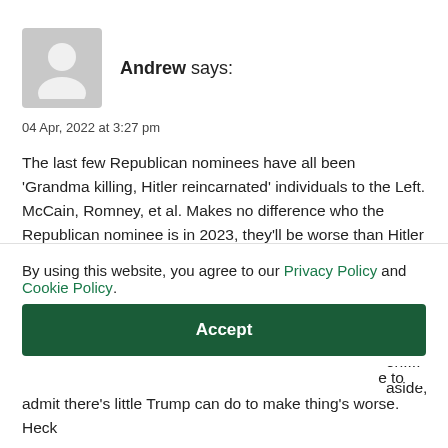[Figure (illustration): Grey placeholder avatar icon showing a generic person silhouette]
Andrew says:
04 Apr, 2022 at 3:27 pm
The last few Republican nominees have all been 'Grandma killing, Hitler reincarnated' individuals to the Left. McCain, Romney, et al. Makes no difference who the Republican nominee is in 2023, they'll be worse than Hitler and want to kill your grandmother. and the MSM will dutifully line up and
By using this website, you agree to our Privacy Policy and Cookie Policy.
Accept
admit there's little Trump can do to make thing's worse. Heck